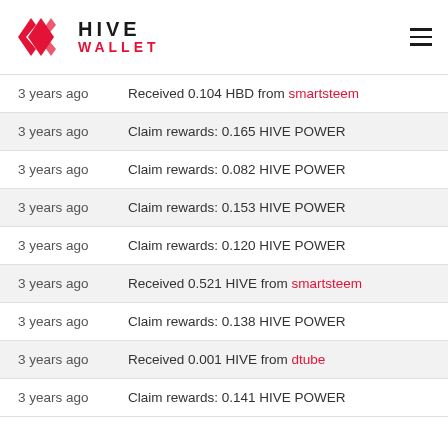HIVE WALLET
3 years ago — Received 0.104 HBD from smartsteem
3 years ago — Claim rewards: 0.165 HIVE POWER
3 years ago — Claim rewards: 0.082 HIVE POWER
3 years ago — Claim rewards: 0.153 HIVE POWER
3 years ago — Claim rewards: 0.120 HIVE POWER
3 years ago — Received 0.521 HIVE from smartsteem
3 years ago — Claim rewards: 0.138 HIVE POWER
3 years ago — Received 0.001 HIVE from dtube
3 years ago — Claim rewards: 0.141 HIVE POWER